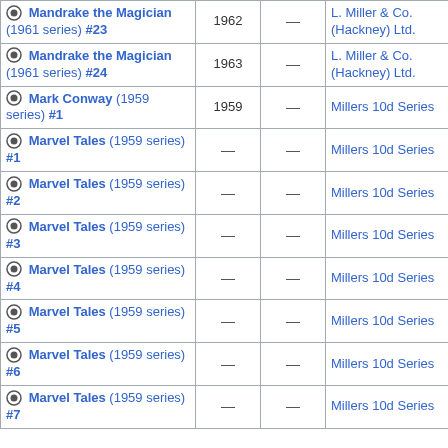| Title | Year |  | Publisher |
| --- | --- | --- | --- |
| Mandrake the Magician (1961 series) #23 | 1962 | — | L. Miller & Co. (Hackney) Ltd. |
| Mandrake the Magician (1961 series) #24 | 1963 | — | L. Miller & Co. (Hackney) Ltd. |
| Mark Conway (1959 series) #1 | 1959 | — | Millers 10d Series |
| Marvel Tales (1959 series) #1 | — | — | Millers 10d Series |
| Marvel Tales (1959 series) #2 | — | — | Millers 10d Series |
| Marvel Tales (1959 series) #3 | — | — | Millers 10d Series |
| Marvel Tales (1959 series) #4 | — | — | Millers 10d Series |
| Marvel Tales (1959 series) #5 | — | — | Millers 10d Series |
| Marvel Tales (1959 series) #6 | — | — | Millers 10d Series |
| Marvel Tales (1959 series) #7 | — | — | Millers 10d Series |